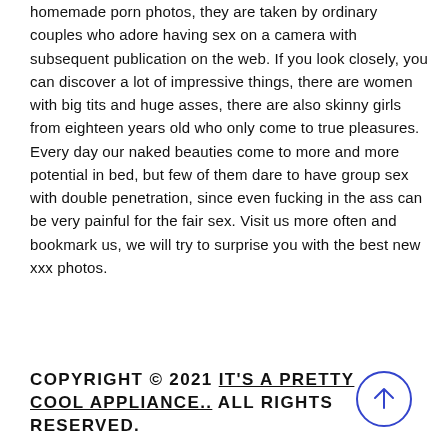homemade porn photos, they are taken by ordinary couples who adore having sex on a camera with subsequent publication on the web. If you look closely, you can discover a lot of impressive things, there are women with big tits and huge asses, there are also skinny girls from eighteen years old who only come to true pleasures. Every day our naked beauties come to more and more potential in bed, but few of them dare to have group sex with double penetration, since even fucking in the ass can be very painful for the fair sex. Visit us more often and bookmark us, we will try to surprise you with the best new xxx photos.
COPYRIGHT © 2021 IT'S A PRETTY COOL APPLIANCE.. ALL RIGHTS RESERVED.